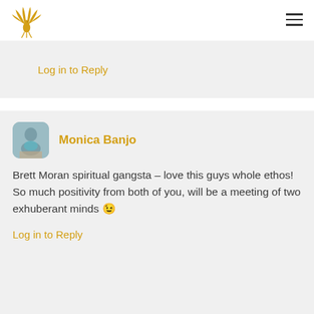Phoenix logo and navigation menu
Log in to Reply
Monica Banjo
Brett Moran spiritual gangsta – love this guys whole ethos! So much positivity from both of you, will be a meeting of two exhuberant minds 😉
Log in to Reply